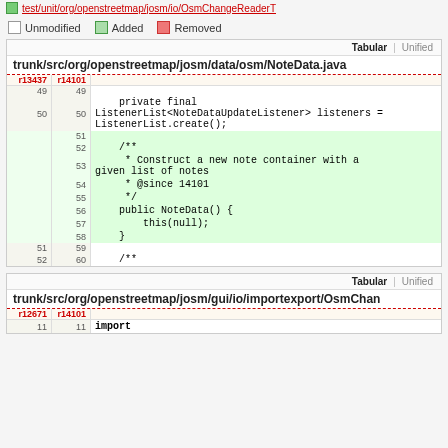test/unit/org/openstreetmap/josm/io/OsmChangeReaderT
Unmodified  Added  Removed
| r13437 | r14101 | code |
| --- | --- | --- |
| 49 | 49 |  |
| 50 | 50 |     private final ListenerList<NoteDataUpdateListener> listeners = ListenerList.create(); |
|  | 51 |  |
|  | 52 |     /** |
|  | 53 |      * Construct a new note container with a given list of notes |
|  | 54 |      * @since 14101 |
|  | 55 |      */ |
|  | 56 |     public NoteData() { |
|  | 57 |         this(null); |
|  | 58 |     } |
| 51 | 59 |  |
| 52 | 60 |     /** |
| r12671 | r14101 | code |
| --- | --- | --- |
| 11 | 11 | import |